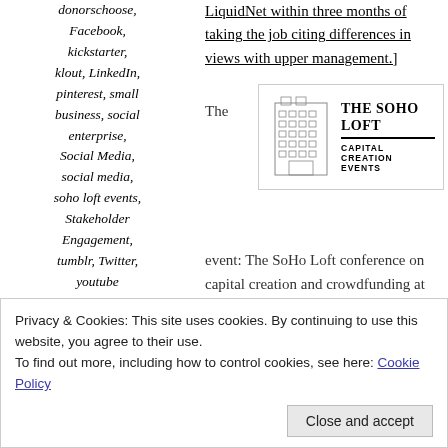LiquidNet within three months of taking the job citing differences in views with upper management.]
donorschoose, Facebook, kickstarter, klout, LinkedIn, pinterest, small business, social enterprise, Social Media, social media, soho loft events, Stakeholder Engagement, tumblr, Twitter, youtube
The
[Figure (logo): The SoHo Loft - Capital Creation Events logo with building illustration]
event: The SoHo Loft conference on capital creation and crowdfunding at law firm Reed Smith's palatial New York City office.
The topic: Crowdfunding and social media, i.e., how investors, analysts and executives can now use the
Privacy & Cookies: This site uses cookies. By continuing to use this website, you agree to their use. To find out more, including how to control cookies, see here: Cookie Policy
Close and accept
and activists to build new enterprise and address the